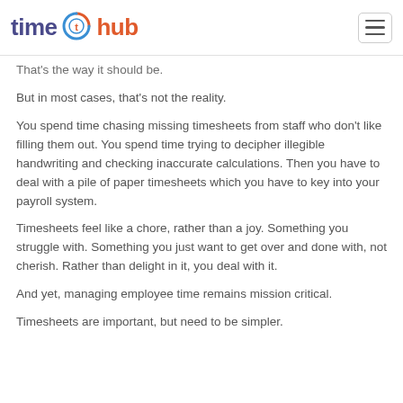time hub
That's the way it should be.
But in most cases, that's not the reality.
You spend time chasing missing timesheets from staff who don't like filling them out. You spend time trying to decipher illegible handwriting and checking inaccurate calculations. Then you have to deal with a pile of paper timesheets which you have to key into your payroll system.
Timesheets feel like a chore, rather than a joy. Something you struggle with. Something you just want to get over and done with, not cherish. Rather than delight in it, you deal with it.
And yet, managing employee time remains mission critical.
Timesheets are important, but need to be simpler.